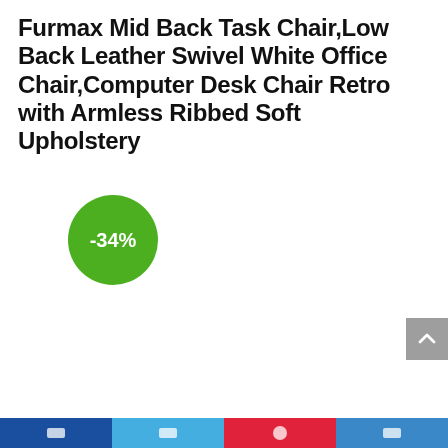Furmax Mid Back Task Chair,Low Back Leather Swivel White Office Chair,Computer Desk Chair Retro with Armless Ribbed Soft Upholstery
[Figure (infographic): Green circular discount badge showing -34%]
[Figure (infographic): Grey scroll-to-top button with upward arrow chevron, positioned at right side]
Social sharing bar with Facebook, Twitter, Pinterest, and another social icon buttons